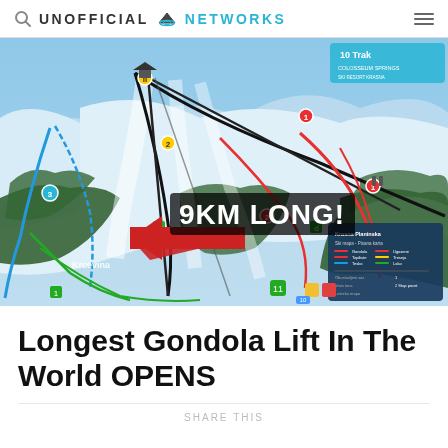UNOFFICIAL NETWORKS
[Figure (map): Ski resort trail map showing gondola lift route annotated with '9KM LONG!' in bold white text on dark background, with a large red arrow pointing left. The map shows ski runs, lifts, and terrain in a snowy mountain setting.]
Longest Gondola Lift In The World OPENS
SHARE THIS